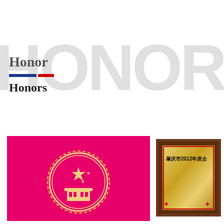Honor
Honors
[Figure (photo): Red certificate cover with gold embossed Chinese national emblem (coat of arms) featuring stars and Tiananmen Gate]
[Figure (photo): Framed golden plaque with Chinese text reading '肇庆市2012年度企...' (Zhaoqing City 2012 Annual Enterprise...), partially cropped, with red decorative border elements]